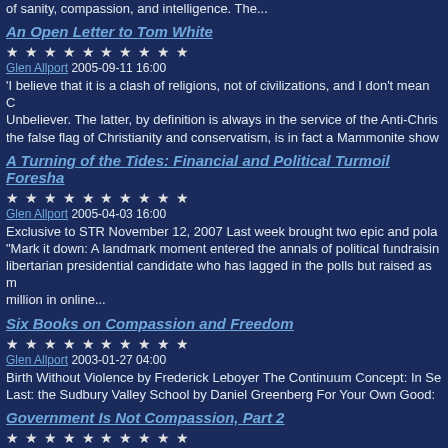of sanity, compassion, and intelligence. The...
An Open Letter to Tom White
★★★★★★★★★★
Glen Allport 2005-09-11 16:00
'I believe that it is a clash of religions, not of civilizations, and I don't mean C... Unbeliever. The latter, by definition is always in the service of the Anti-Chris... the false flag of Christianity and conservatism, is in fact a Mammonite show...
A Turning of the Tides: Financial and Political Turmoil Foresha...
★★★★★★★★★★
Glen Allport 2005-04-03 16:00
Exclusive to STR November 12, 2007 Last week brought two epic and pola... "Mark it down: A landmark moment entered the annals of political fundraisin... libertarian presidential candidate who has lagged in the polls but raised as m... million in online...
Six Books on Compassion and Freedom
★★★★★★★★★★
Glen Allport 2003-01-27 04:00
Birth Without Violence by Frederick Leboyer The Continuum Concept: In Se... Last: the Sudbury Valley School by Daniel Greenberg For Your Own Good:
Government Is Not Compassion, Part 2
★★★★★★★★★★
Glen Allport 2002-12-04 04:00
Is coercive government a necessary evil? Or merely an ancient one?  And... argument in favor of government... any kind of coercive government...